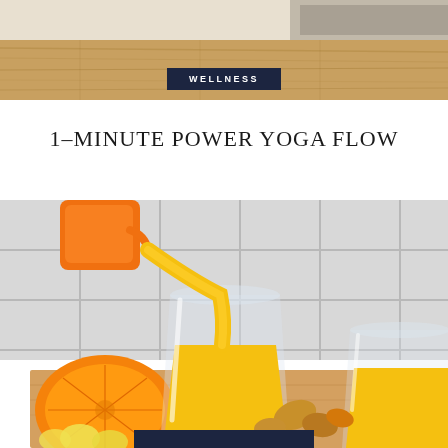[Figure (photo): Top portion: wooden table/desk with a partial view of an object, warm wood tones]
WELLNESS
1–MINUTE POWER YOGA FLOW
[Figure (photo): Vibrant yellow/orange smoothie or juice being poured from an orange pitcher into a clear glass, with half an orange, ginger root, turmeric, and lemon slices on a wooden board against a white tile background]